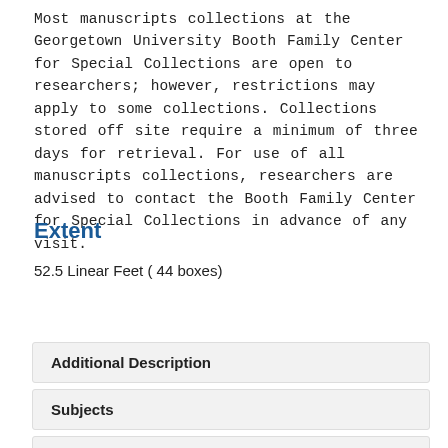Most manuscripts collections at the Georgetown University Booth Family Center for Special Collections are open to researchers; however, restrictions may apply to some collections. Collections stored off site require a minimum of three days for retrieval. For use of all manuscripts collections, researchers are advised to contact the Booth Family Center for Special Collections in advance of any visit.
Extent
52.5 Linear Feet ( 44 boxes)
Expand All
Additional Description
Subjects
Finding Aid & Administrative Information
Repository Details